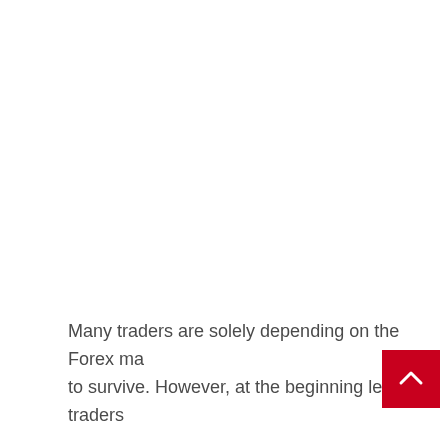Many traders are solely depending on the Forex ma[rket] to survive. However, at the beginning level, traders